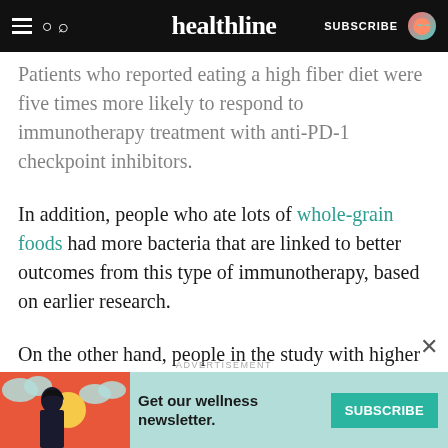healthline — SUBSCRIBE
Patients who reported eating a high fiber diet were five times more likely to respond to immunotherapy treatment with anti-PD-1 checkpoint inhibitors.
In addition, people who ate lots of whole-grain foods had more bacteria that are linked to better outcomes from this type of immunotherapy, based on earlier research.
On the other hand, people in the study with higher amounts of processed meat or added sugars in their diet had fewer bacteria associated with a good immunotherapy response.
[Figure (other): Advertisement banner for Healthline wellness newsletter with Subscribe button]